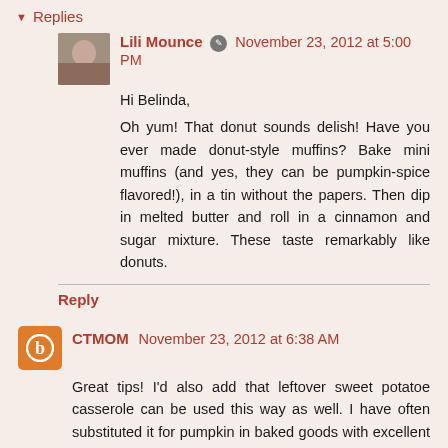▾ Replies
Lili Mounce 🖉 November 23, 2012 at 5:00 PM
Hi Belinda,
Oh yum! That donut sounds delish! Have you ever made donut-style muffins? Bake mini muffins (and yes, they can be pumpkin-spice flavored!), in a tin without the papers. Then dip in melted butter and roll in a cinnamon and sugar mixture. These taste remarkably like donuts.
Reply
CTMOM November 23, 2012 at 6:38 AM
Great tips! I'd also add that leftover sweet potatoe casserole can be used this way as well. I have often substituted it for pumpkin in baked goods with excellent results!
Reply